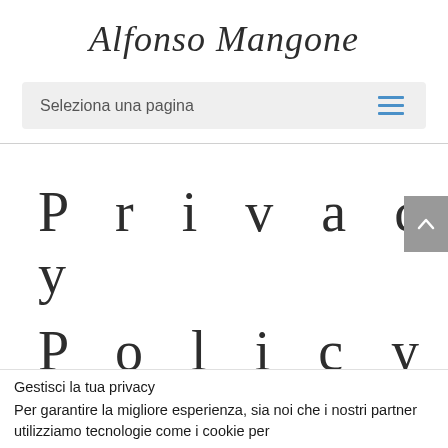Alfonso Mangone
Seleziona una pagina
Privacy Policy
Gestisci la tua privacy
Per garantire la migliore esperienza, sia noi che i nostri partner utilizziamo tecnologie come i cookie per